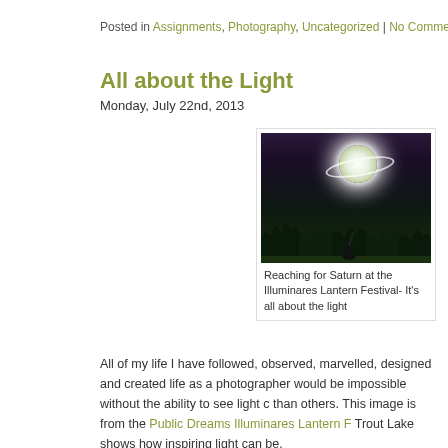Posted in Assignments, Photography, Uncategorized | No Comments »
All about the Light
Monday, July 22nd, 2013
[Figure (photo): Night photograph of a person sitting on grass holding up a glowing Saturn-shaped lantern orb at the Illuminares Lantern Festival]
Reaching for Saturn at the Illuminares Lantern Festival- It's all about the light
All of my life I have followed, observed, marvelled, designed and created life as a photographer would be impossible without the ability to see light c than others. This image is from the Public Dreams Illuminares Lantern F Trout Lake shows how inspiring light can be.